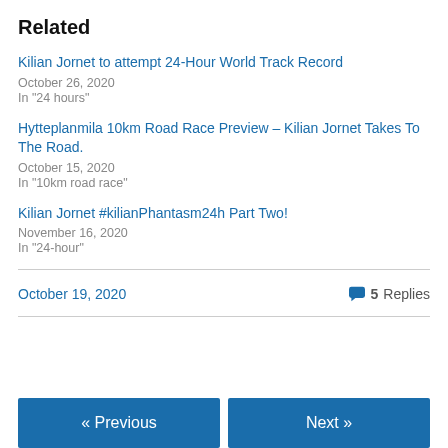Related
Kilian Jornet to attempt 24-Hour World Track Record
October 26, 2020
In "24 hours"
Hytteplanmila 10km Road Race Preview – Kilian Jornet Takes To The Road.
October 15, 2020
In "10km road race"
Kilian Jornet #kilianPhantasm24h Part Two!
November 16, 2020
In "24-hour"
October 19, 2020   💬 5 Replies
« Previous   Next »